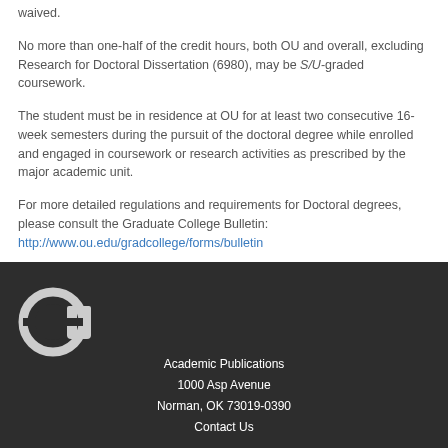waived.
No more than one-half of the credit hours, both OU and overall, excluding Research for Doctoral Dissertation (6980), may be S/U-graded coursework.
The student must be in residence at OU for at least two consecutive 16-week semesters during the pursuit of the doctoral degree while enrolled and engaged in coursework or research activities as prescribed by the major academic unit.
For more detailed regulations and requirements for Doctoral degrees, please consult the Graduate College Bulletin: http://www.ou.edu/gradcollege/forms/bulletin
[Figure (logo): University of Oklahoma interlocking OU logo in white on dark background]
Academic Publications
1000 Asp Avenue
Norman, OK 73019-0390
Contact Us